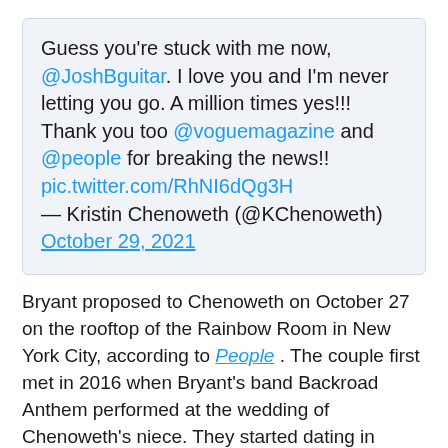Guess you're stuck with me now, @JoshBguitar. I love you and I'm never letting you go. A million times yes!!! Thank you too @voguemagazine and @people for breaking the news!! pic.twitter.com/RhNI6dQg3H — Kristin Chenoweth (@KChenoweth) October 29, 2021
Bryant proposed to Chenoweth on October 27 on the rooftop of the Rainbow Room in New York City, according to People . The couple first met in 2016 when Bryant's band Backroad Anthem performed at the wedding of Chenoweth's niece. They started dating in August 2018 after meeting again at Chenoweth's niece's wedding. While...